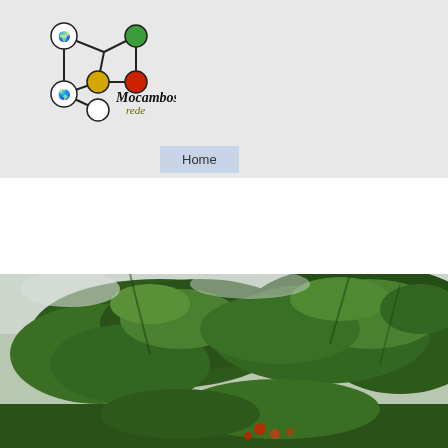[Figure (logo): Mocambos rede network logo with colored nodes and globe icons]
Home
Gallery » Jambeiro » 1600x1400-DSCF2...
◄ Previous
45 of 73
[Figure (photo): Lush green tropical trees canopy with some red flowers visible at bottom, overcast sky]